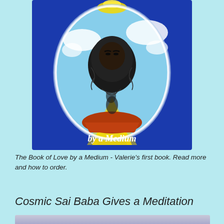[Figure (illustration): Book cover illustration: 'by a Medium' - shows a dark bearded face floating above a red rock (Uluru) with yellow light rays, set in an oval frame against a dark blue background.]
The Book of Love by a Medium - Valerie's first book. Read more and how to order.
Cosmic Sai Baba Gives a Meditation
[Figure (photo): Partial photo visible at the bottom of the page, showing a blurred/soft purple-grey image, likely a portrait or spiritual figure.]